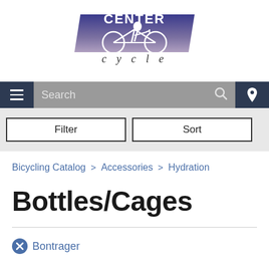[Figure (logo): Center Cycle logo with stylized bicycle rider graphic and italic 'cycle' text below]
[Figure (screenshot): Navigation bar with hamburger menu, search bar, and location pin icon]
[Figure (screenshot): Filter and Sort buttons on gray background]
Bicycling Catalog > Accessories > Hydration
Bottles/Cages
✕ Bontrager